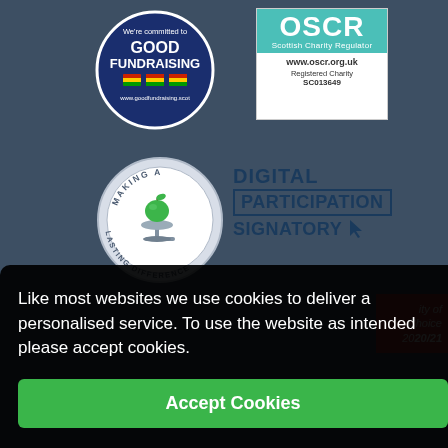[Figure (logo): Good Fundraising circular badge — dark blue circle with text 'We're committed to GOOD FUNDRAISING' and colorful flag icons at bottom, www.goodfundraising.scot]
[Figure (logo): OSCR Scottish Charity Regulator badge — teal top with 'OSCR Scottish Charity Regulator www.oscr.org.uk' and white bottom 'Registered Charity SC013649']
[Figure (logo): Making a Lasting Difference circular badge — light blue/grey circle with apple on scale illustration and text around the rim]
[Figure (logo): Digital Participation Signatory badge — dark navy text with PARTICIPATION in a box and cursor icon]
Like most websites we use cookies to deliver a personalised service. To use the website as intended please accept cookies.
Accept Cookies